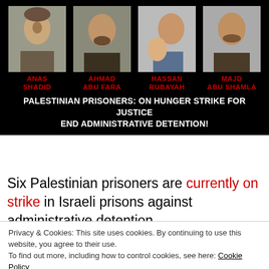[Figure (photo): Four headshot photos of Palestinian prisoners on black background with red names: ANAS SHADID, AHMAD ABU FARA, HASSAN RUBAYAH, MAJD ABU SHAMLA]
PALESTINIAN PRISONERS: ON HUNGER STRIKE FOR JUSTICE END ADMINISTRATIVE DETENTION!
Six Palestinian prisoners are currently on strike in Israeli prisons against administrative detention,
Privacy & Cookies: This site uses cookies. By continuing to use this website, you agree to their use. To find out more, including how to control cookies, see here: Cookie Policy
without charge or trial under administrative